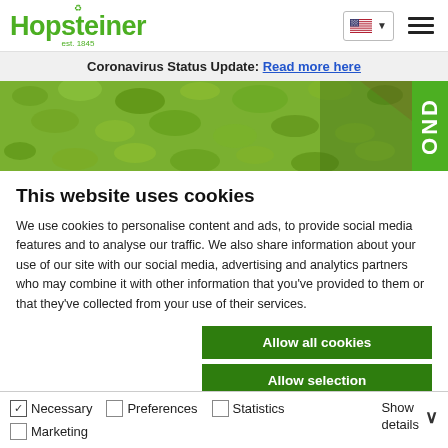Hopsteiner est. 1845 | US flag | hamburger menu
Coronavirus Status Update: Read more here
[Figure (photo): Aerial view of large pile of green hops pellets or plant material, with a green vertical tab on right side showing partial text 'OND']
This website uses cookies
We use cookies to personalise content and ads, to provide social media features and to analyse our traffic. We also share information about your use of our site with our social media, advertising and analytics partners who may combine it with other information that you've provided to them or that they've collected from your use of their services.
Allow all cookies
Allow selection
Use necessary cookies only
Necessary  Preferences  Statistics  Marketing  Show details